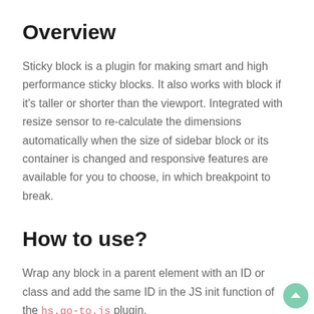Overview
Sticky block is a plugin for making smart and high performance sticky blocks. It also works with block if it's taller or shorter than the viewport. Integrated with resize sensor to re-calculate the dimensions automatically when the size of sidebar block or its container is changed and responsive features are available for you to choose, in which breakpoint to break.
How to use?
Wrap any block in a parent element with an ID or class and add the same ID in the JS init function of the hs.go-to.js plugin.